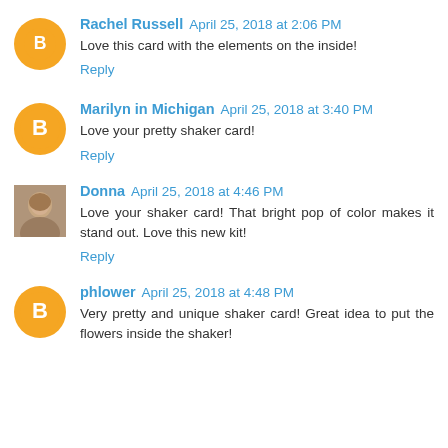Rachel Russell April 25, 2018 at 2:06 PM
Love this card with the elements on the inside!
Reply
Marilyn in Michigan April 25, 2018 at 3:40 PM
Love your pretty shaker card!
Reply
Donna April 25, 2018 at 4:46 PM
Love your shaker card! That bright pop of color makes it stand out. Love this new kit!
Reply
phlower April 25, 2018 at 4:48 PM
Very pretty and unique shaker card! Great idea to put the flowers inside the shaker!